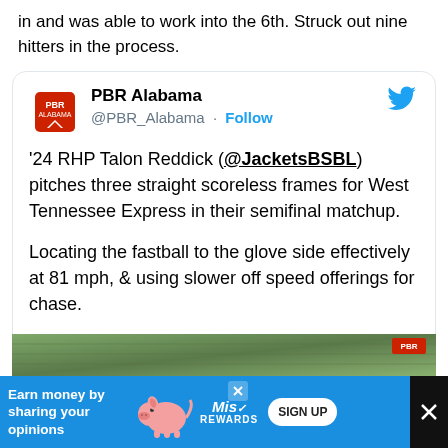in and was able to work into the 6th. Struck out nine hitters in the process.
[Figure (screenshot): Embedded tweet from PBR Alabama (@PBR_Alabama) with Follow button and Twitter bird icon. Tweet text: ''24 RHP Talon Reddick (@JacketsBSBL) pitches three straight scoreless frames for West Tennessee Express in their semifinal matchup. Locating the fastball to the glove side effectively at 81 mph, & using slower off speed offerings for chase. #ALSelect | @PBRTournaments']
[Figure (photo): Partial photo of a baseball game or field visible at bottom of tweet card]
[Figure (screenshot): Advertisement banner: 'Earn money by sharing your opinions' with pig mascot, Miss Rewards logo, SIGN UP button, and X close button]